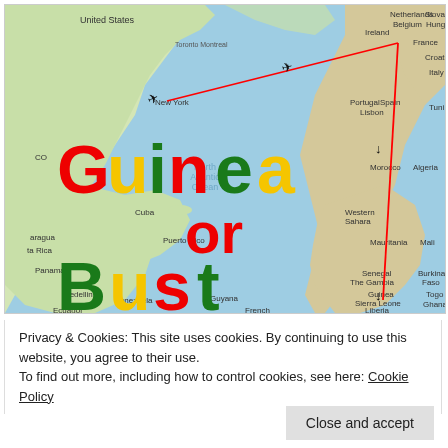[Figure (map): World map (North Atlantic view) showing flight route from New York to Belgium/Netherlands area, then south along European/African coast to Guinea/Sierra Leone. Overlay text reads 'Guinea or Bust' in red, yellow, and green letters. Red lines with airplane icons trace the route.]
Privacy & Cookies: This site uses cookies. By continuing to use this website, you agree to their use.
To find out more, including how to control cookies, see here: Cookie Policy
Close and accept